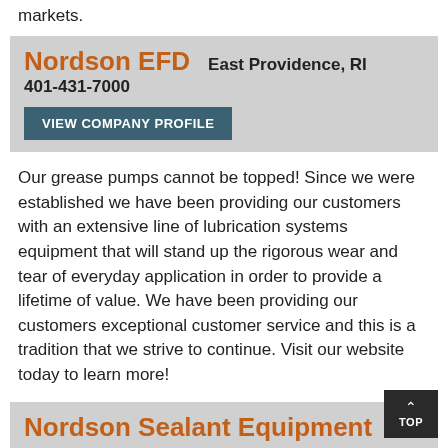markets.
Nordson EFD   East Providence, RI   401-431-7000
VIEW COMPANY PROFILE
Our grease pumps cannot be topped! Since we were established we have been providing our customers with an extensive line of lubrication systems equipment that will stand up the rigorous wear and tear of everyday application in order to provide a lifetime of value. We have been providing our customers exceptional customer service and this is a tradition that we strive to continue. Visit our website today to learn more!
Nordson Sealant Equipment   Wixom, MI   248-412-7920
VIEW COMPANY PROFILE
Celebrating 40 years, Nordson Sealant Equipment manufactures the largest selection of precision meter-mix